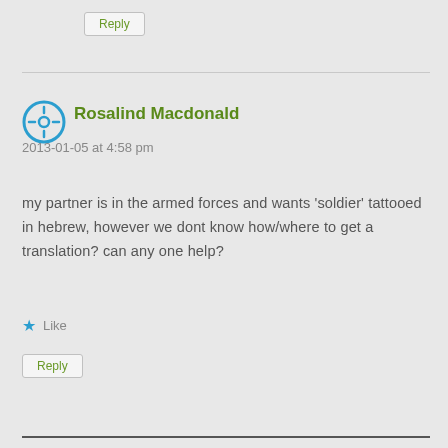Reply
Rosalind Macdonald
2013-01-05 at 4:58 pm
my partner is in the armed forces and wants 'soldier' tattooed in hebrew, however we dont know how/where to get a translation? can any one help?
Like
Reply